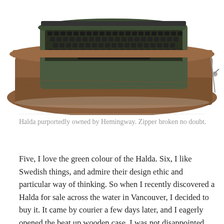[Figure (photo): A vintage Halda typewriter in a brown leather/wooden case, viewed from above at an angle. The typewriter is dark green/olive colored with black keys. The brown case has a zipper visible on the right side.]
Halda purportedly owned by Hemingway. Zipper broken no doubt.
Five, I love the green colour of the Halda. Six, I like Swedish things, and admire their design ethic and particular way of thinking. So when I recently discovered a Halda for sale across the water in Vancouver, I decided to buy it. It came by courier a few days later, and I eagerly opened the beat up wooden case. I was not disappointed. The Halda is a thing of beauty, and not merely skin deep. True to my hopes and expectations, it captured me with its subtle, clean, compact shape, and the minimalist but